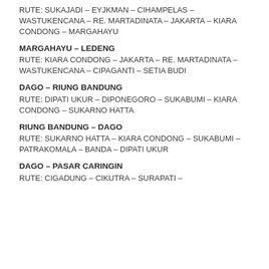RUTE: SUKAJADI – EYJKMAN – CIHAMPELAS – WASTUKENCANA – RE. MARTADINATA – JAKARTA – KIARA CONDONG – MARGAHAYU
MARGAHAYU – LEDENG
RUTE: KIARA CONDONG – JAKARTA – RE. MARTADINATA – WASTUKENCANA – CIPAGANTI – SETIA BUDI
DAGO – RIUNG BANDUNG
RUTE: DIPATI UKUR – DIPONEGORO – SUKABUMI – KIARA CONDONG – SUKARNO HATTA
RIUNG BANDUNG – DAGO
RUTE: SUKARNO HATTA – KIARA CONDONG – SUKABUMI – PATRAKOMALA – BANDA – DIPATI UKUR
DAGO – PASAR CARINGIN
RUTE: CIGADUNG – CIKUTRA – SURAPATI –